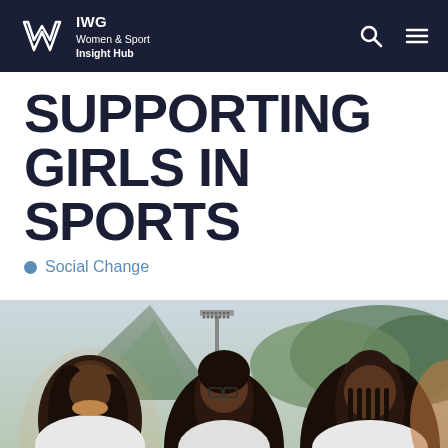IWG Women & Sport Insight Hub
SUPPORTING GIRLS IN SPORTS
Social Change
[Figure (photo): Three young Black girls smiling outdoors at a sports ground, with a mountain and trees visible in the background.]